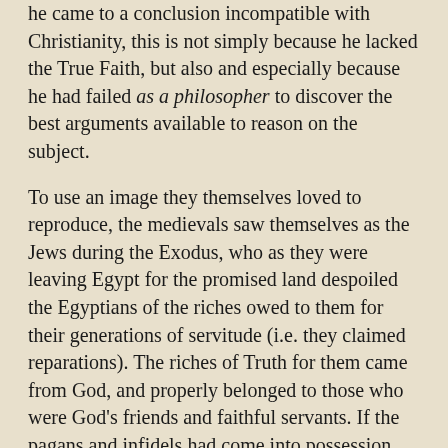he came to a conclusion incompatible with Christianity, this is not simply because he lacked the True Faith, but also and especially because he had failed as a philosopher to discover the best arguments available to reason on the subject.
To use an image they themselves loved to reproduce, the medievals saw themselves as the Jews during the Exodus, who as they were leaving Egypt for the promised land despoiled the Egyptians of the riches owed to them for their generations of servitude (i.e. they claimed reparations). The riches of Truth for them came from God, and properly belonged to those who were God's friends and faithful servants. If the pagans and infidels had come into possession some truth on their own, it belonged with just as much right to Christianity as well, and so Christians would appropriate good reasons and good arguments wherever they found them.
Of course in order to have such an attitude they had to have a profound confidence in the harmony of faith and reason, an assurance that truth could never be in conflict with truth. If Christianity were true, and if the mind had the capacity to